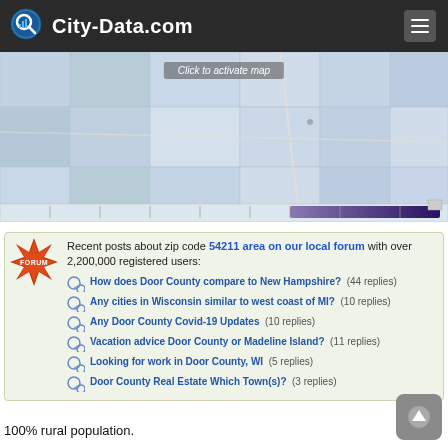City-Data.com
[Figure (map): Interactive map of zip code 54211 area with 'Click to activate map' overlay and a gradient slider bar at the bottom]
Recent posts about zip code 54211 area on our local forum with over 2,200,000 registered users:
How does Door County compare to New Hampshire? (44 replies)
Any cities in Wisconsin similar to west coast of MI? (10 replies)
Any Door County Covid-19 Updates (10 replies)
Vacation advice Door County or Madeline Island? (11 replies)
Looking for work in Door County, WI (5 replies)
Door County Real Estate Which Town(s)? (3 replies)
100% rural population.